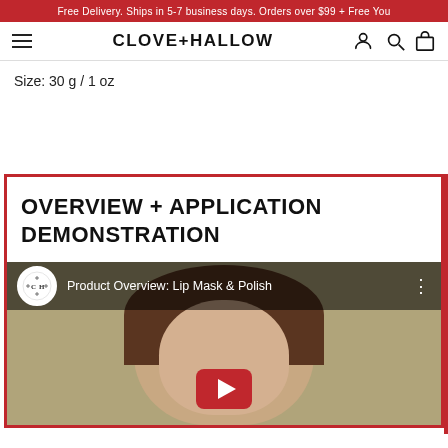Free Delivery. Ships in 5-7 business days. Orders over $99 + Free You
CLOVE+HALLOW
Size: 30 g / 1 oz
OVERVIEW + APPLICATION DEMONSTRATION
[Figure (screenshot): YouTube video thumbnail showing a woman's face with 'Product Overview: Lip Mask & Polish' title overlay on a dark semi-transparent bar, with the Clove+Hallow channel logo circle and a YouTube play button]